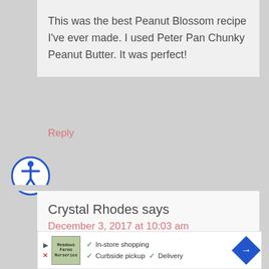This was the best Peanut Blossom recipe I’ve ever made. I used Peter Pan Chunky Peanut Butter. It was perfect!
Reply
[Figure (illustration): Accessibility icon: blue circle with white person/wheelchair symbol inside]
Crystal Rhodes says
December 3, 2017 at 10:03 am
[Figure (other): Five black star rating symbols]
[Figure (other): Advertisement banner: Meadows Farms Nurseries logo, checkmarks for In-store shopping, Curbside pickup, Delivery, blue diamond arrow icon]